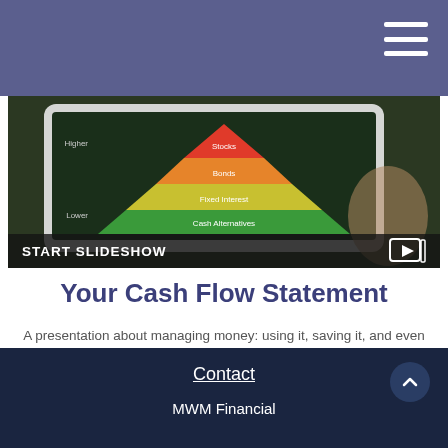[Figure (illustration): A tablet displaying a colorful pyramid/funnel chart showing investment risk levels: Stocks (top), Bonds, Fixed Interest, Cash Alternatives (bottom), with 'Higher' and 'Lower' risk labels. A hand holds the tablet against a dark background.]
START SLIDESHOW
Your Cash Flow Statement
A presentation about managing money: using it, saving it, and even getting credit.
Contact
MWM Financial